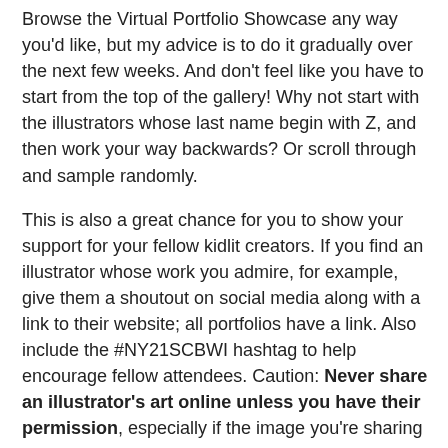Browse the Virtual Portfolio Showcase any way you'd like, but my advice is to do it gradually over the next few weeks. And don't feel like you have to start from the top of the gallery! Why not start with the illustrators whose last name begin with Z, and then work your way backwards? Or scroll through and sample randomly.
This is also a great chance for you to show your support for your fellow kidlit creators. If you find an illustrator whose work you admire, for example, give them a shoutout on social media along with a link to their website; all portfolios have a link. Also include the #NY21SCBWI hashtag to help encourage fellow attendees. Caution: Never share an illustrator's art online unless you have their permission, especially if the image you're sharing does not have their info included.
A social media tip for illustrators who are sharing their art in social media: always make sure your name and (ideally) copyright info is embedded in art you share online. Some people may scoop and share your image without